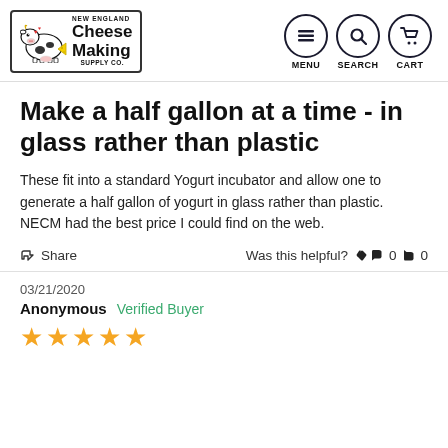[Figure (logo): New England Cheese Making Supply Co. logo with cartoon cow]
Make a half gallon at a time - in glass rather than plastic
These fit into a standard Yogurt incubator and allow one to generate a half gallon of yogurt in glass rather than plastic. NECM had the best price I could find on the web.
Share   Was this helpful?  0  0
03/21/2020
Anonymous  Verified Buyer
[Figure (illustration): Five gold star rating]